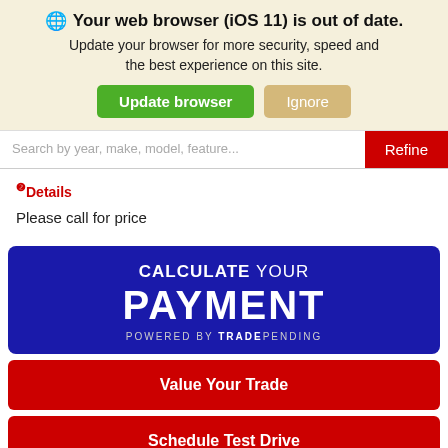🌐 Your web browser (iOS 11) is out of date. Update your browser for more security, speed and the best experience on this site. [Update browser] [Ignore]
Search by year, make, model, feature... [Refine]
❷Details
Please call for price
[Figure (infographic): Dark blue banner with white bold text reading: CALCULATE YOUR PAYMENT. Powered by TRADEPENDING.]
Value Your Trade
Schedule Test Drive
Factory Window Sticker